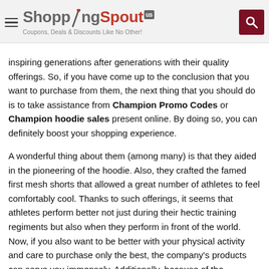ShoppingSpout.us — Coupons, Deals & Discounts Like No Other!
inspiring generations after generations with their quality offerings. So, if you have come up to the conclusion that you want to purchase from them, the next thing that you should do is to take assistance from Champion Promo Codes or Champion hoodie sales present online. By doing so, you can definitely boost your shopping experience.
A wonderful thing about them (among many) is that they aided in the pioneering of the hoodie. Also, they crafted the famed first mesh shorts that allowed a great number of athletes to feel comfortably cool. Thanks to such offerings, it seems that athletes perform better not just during their hectic training regiments but also when they perform in front of the world. Now, if you also want to be better with your physical activity and care to purchase only the best, the company's products can serve you immensely. Additionally, because of the Champion hoodie sales, chances are that you will earn